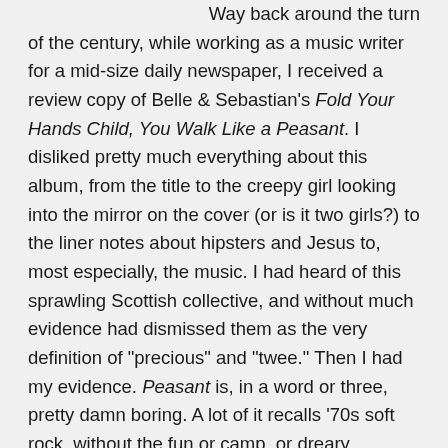Way back around the turn of the century, while working as a music writer for a mid-size daily newspaper, I received a review copy of Belle & Sebastian's Fold Your Hands Child, You Walk Like a Peasant. I disliked pretty much everything about this album, from the title to the creepy girl looking into the mirror on the cover (or is it two girls?) to the liner notes about hipsters and Jesus to, most especially, the music. I had heard of this sprawling Scottish collective, and without much evidence had dismissed them as the very definition of "precious" and "twee." Then I had my evidence. Peasant is, in a word or three, pretty damn boring. A lot of it recalls '70s soft rock, without the fun or camp, or dreary chamber music. There's very little of Stuart Murdoch's pop genius that would mark the band's later albums.
Did I say genius? Well, yeah. A couple of years later I